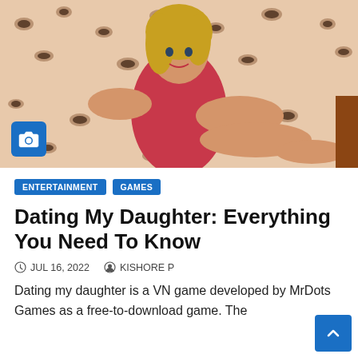[Figure (photo): A 3D rendered blonde woman in a red outfit lying on a leopard-print bed, used as article hero image]
ENTERTAINMENT   GAMES
Dating My Daughter: Everything You Need To Know
JUL 16, 2022   KISHORE P
Dating my daughter is a VN game developed by MrDots Games as a free-to-download game. The